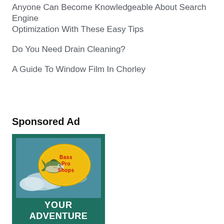Anyone Can Become Knowledgeable About Search Engine Optimization With These Easy Tips
Do You Need Drain Cleaning?
A Guide To Window Film In Chorley
Sponsored Ad
[Figure (illustration): Bass Pro Shops advertisement with logo showing a bass fish jumping out of water on a yellow oval, text reading YOUR ADVENTURE below, on a teal/green background with sky and clouds]